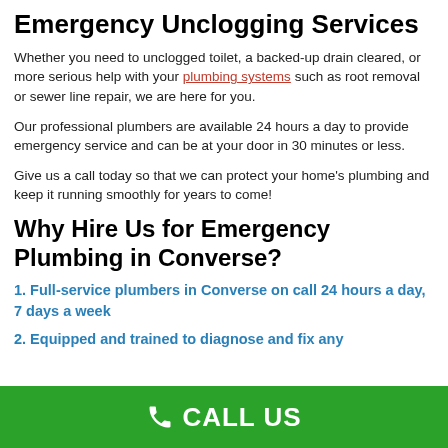Emergency Unclogging Services
Whether you need to unclogged toilet, a backed-up drain cleared, or more serious help with your plumbing systems such as root removal or sewer line repair, we are here for you.
Our professional plumbers are available 24 hours a day to provide emergency service and can be at your door in 30 minutes or less.
Give us a call today so that we can protect your home's plumbing and keep it running smoothly for years to come!
Why Hire Us for Emergency Plumbing in Converse?
1. Full-service plumbers in Converse on call 24 hours a day, 7 days a week
2. Equipped and trained to diagnose and fix any
CALL US